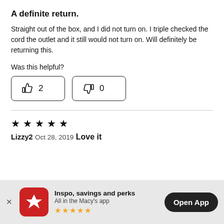A definite return.
Straight out of the box, and I did not turn on. I triple checked the cord the outlet and it still would not turn on. Will definitely be returning this.
Was this helpful?
[Figure (other): Thumbs up button with count 2 and thumbs down button with count 0]
★ ★ ★ ★ ★
Lizzy2
Oct 28, 2019
Love it
[Figure (other): App banner: Inspo, savings and perks. All in the Macy's app. Open App button.]